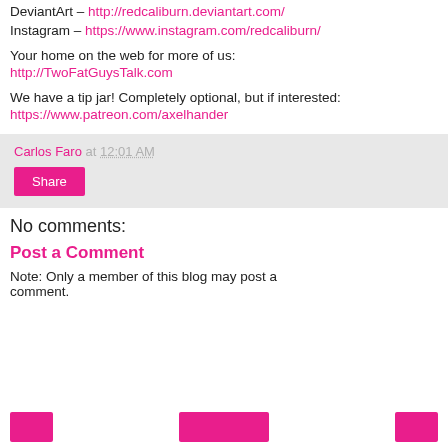DeviantArt – http://redcaliburn.deviantart.com/
Instagram – https://www.instagram.com/redcaliburn/
Your home on the web for more of us:
http://TwoFatGuysTalk.com
We have a tip jar! Completely optional, but if interested:
https://www.patreon.com/axelhander
Carlos Faro at 12:01 AM
Share
No comments:
Post a Comment
Note: Only a member of this blog may post a comment.